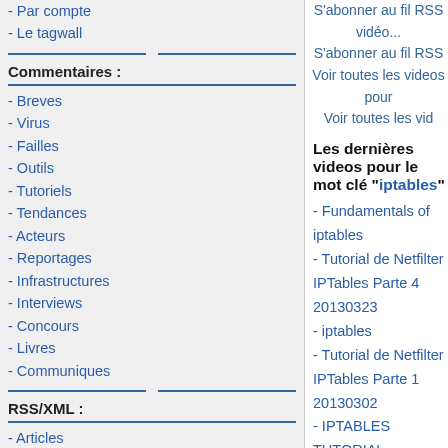- Par compte
- Le tagwall
Commentaires :
- Breves
- Virus
- Failles
- Outils
- Tutoriels
- Tendances
- Acteurs
- Reportages
- Infrastructures
- Interviews
- Concours
- Livres
- Communiques
RSS/XML :
- Articles
- Commentaires
- Revue
- Revue FR
- Videos
S'abonner au fil RSS vidéos
S'abonner au fil RSS
Voir toutes les videos pour
Voir toutes les vid
Les dernières videos pour le mot clé "iptables"
- Fundamentals of iptables
- Tutorial de Netfilter IPTables Parte 4 20130323
- iptables
- Tutorial de Netfilter IPTables Parte 1 20130302
- IPTABLES TUTORIAL
- Tutorial de Netfilter IPTables Parte 7 20130413
- Tutorial de Netfilter IPTables Parte 5 20130330
- iptables
- Use CentOS Linux for Routing Proxy NAT DHCP
- Tutorial de Netfilter IPTables Parte 3 20130316
Voir toutes les videos pour
Les dernières videos du site 'kvreel' :